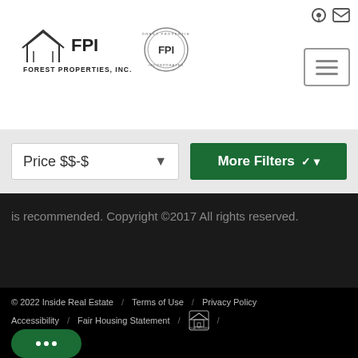[Figure (logo): FPI Forest Properties Inc. logos — main logo with house/mountain icon and wordmark, plus circular FPI badge logo]
[Figure (other): Hamburger menu button with three horizontal lines]
[Figure (other): Price $$-$ dropdown filter]
[Figure (other): More Filters button with chevron]
is recommended. Copyright ©2017 All rights reserved.
© 2022 Inside Real Estate / Terms of Use / Privacy Policy Accessibility / Fair Housing Statement / [Equal Housing Logo] /
[Figure (other): Google Translate Select Language widget]
[Figure (other): Green chat bubble with three dots]